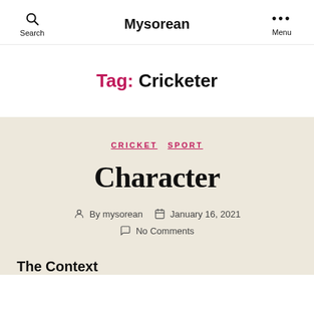Search  Mysorean  Menu
Tag: Cricketer
CRICKET  SPORT
Character
By mysorean   January 16, 2021
No Comments
The Context